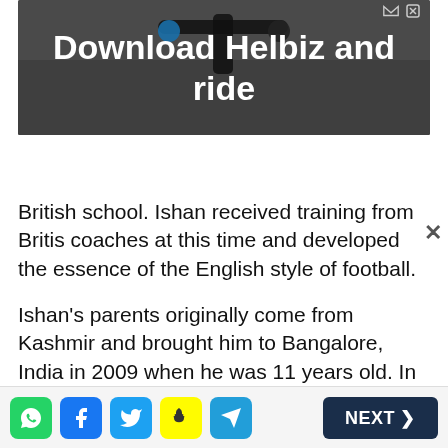[Figure (photo): Advertisement banner showing scooter handlebars with text 'Download Helbiz and ride' on dark background]
British school. Ishan received training from British coaches at this time and developed the essence of the English style of football.
Ishan's parents originally come from Kashmir and brought him to Bangalore, India in 2009 when he was 11 years old. In Bangalore, Ishan showed amazing performance and became the captain of his international school football team. Here, he played for Student Unions and Bangalore Yellows and gained recognition in the BDCA Division A and C state soccer leagues.
Social share icons (WhatsApp, Facebook, Twitter, Snapchat, Telegram) | NEXT >